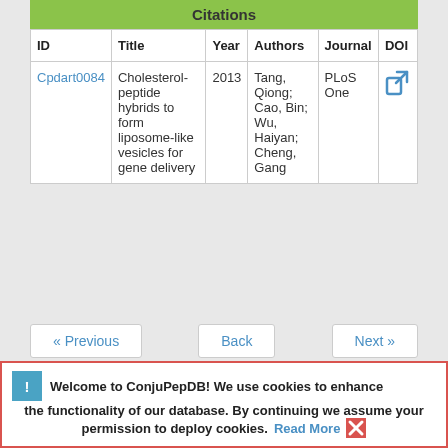| ID | Title | Year | Authors | Journal | DOI |
| --- | --- | --- | --- | --- | --- |
| Cpdart0084 | Cholesterol-peptide hybrids to form liposome-like vesicles for gene delivery | 2013 | Tang, Qiong; Cao, Bin; Wu, Haiyan; Cheng, Gang | PLoS One | [link icon] |
« Previous   Back   Next »
Welcome to ConjuPepDB! We use cookies to enhance the functionality of our database. By continuing we assume your permission to deploy cookies. Read More